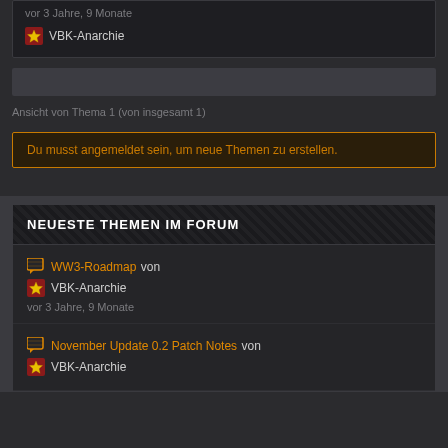vor 3 Jahre, 9 Monate
VBK-Anarchie
Ansicht von Thema 1 (von insgesamt 1)
Du musst angemeldet sein, um neue Themen zu erstellen.
NEUESTE THEMEN IM FORUM
WW3-Roadmap von VBK-Anarchie vor 3 Jahre, 9 Monate
November Update 0.2 Patch Notes von VBK-Anarchie